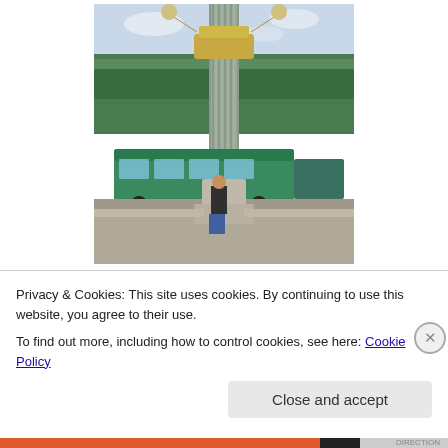[Figure (photo): Person standing next to an ornate lamp post column in what appears to be Paris (Place de la Concorde area), with a green bus in the background and trees visible. The lamp post has golden decorative elements at the top with globe lights.]
Sunday May First    May Day!
Privacy & Cookies: This site uses cookies. By continuing to use this website, you agree to their use.
To find out more, including how to control cookies, see here: Cookie Policy
Close and accept